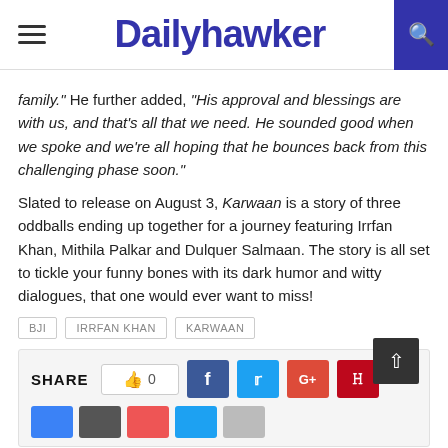Dailyhawker
family." He further added, "His approval and blessings are with us, and that's all that we need. He sounded good when we spoke and we're all hoping that he bounces back from this challenging phase soon."
Slated to release on August 3, Karwaan is a story of three oddballs ending up together for a journey featuring Irrfan Khan, Mithila Palkar and Dulquer Salmaan. The story is all set to tickle your funny bones with its dark humor and witty dialogues, that one would ever want to miss!
BJI
IRRFAN KHAN
KARWAAN